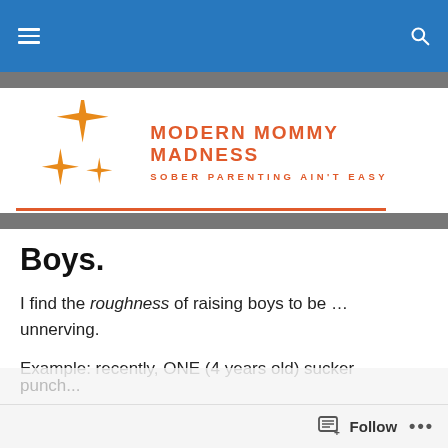[Figure (logo): Modern Mommy Madness blog logo with orange star/sparkle shapes and text 'MODERN MOMMY MADNESS - SOBER PARENTING AIN'T EASY']
Boys.
I find the roughness of raising boys to be … unnerving.
Example: recently, ONE (4 years old) sucker